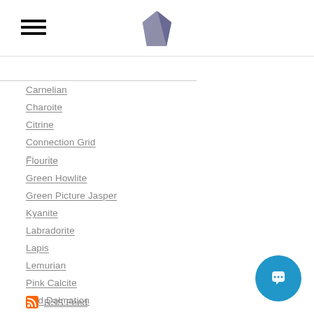Navigation header with hamburger menu and logo
Carnelian
Charoite
Citrine
Connection Grid
Flourite
Green Howlite
Green Picture Jasper
Kyanite
Labradorite
Lapis
Lemurian
Pink Calcite
Red Dalmation
Ruby
Selenite
Shungite
Tournalinated Quartz
RSS Feed